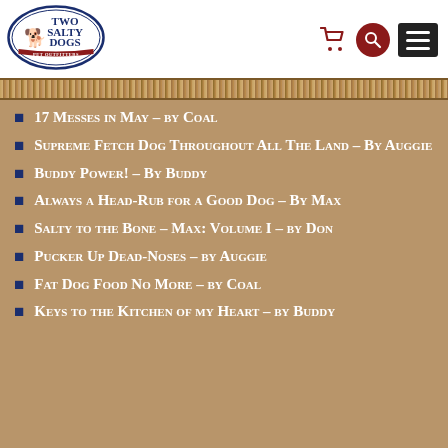Two Salty Dogs Pet Outfitters – navigation header with logo, cart, search, and menu icons
17 Messes in May – by Coal
Supreme Fetch Dog Throughout All The Land – By Auggie
Buddy Power! – By Buddy
Always a Head-Rub for a Good Dog – By Max
Salty to the Bone – Max: Volume I – by Don
Pucker Up Dead-Noses – by Auggie
Fat Dog Food No More – by Coal
Keys to the Kitchen of my Heart – by Buddy